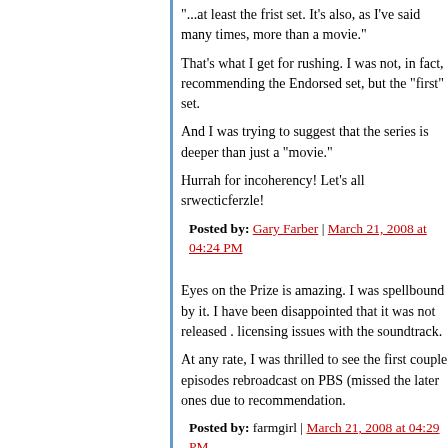"...at least the frist set. It's also, as I've said many times, more than a movie."
That's what I get for rushing. I was not, in fact, recommending the Endorsed set, but the "first" set.
And I was trying to suggest that the series is deeper than just a "movie."
Hurrah for incoherency! Let's all srwecticferzle!
Posted by: Gary Farber | March 21, 2008 at 04:24 PM
Eyes on the Prize is amazing. I was spellbound by it. I have been disappointed that it was not released . licensing issues with the soundtrack.
At any rate, I was thrilled to see the first couple episodes rebroadcast on PBS (missed the later ones due to recommendation.
Posted by: farmgirl | March 21, 2008 at 04:29 PM
In case anyone didn't do the obvious.